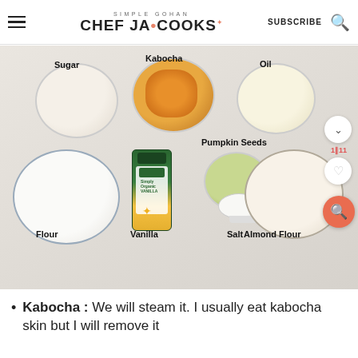SIMPLE GOHAN — CHEF JA COOKS — SUBSCRIBE
[Figure (photo): Overhead flat-lay photo of baking ingredients in white bowls on a light background. Labeled ingredients: Sugar, Kabocha (with orange squash pieces), Oil, Flour, Pumpkin Seeds, Vanilla (bottle), Salt (small spoon), Almond Flour.]
Kabocha : We will steam it. I usually eat kabocha skin but I will remove it